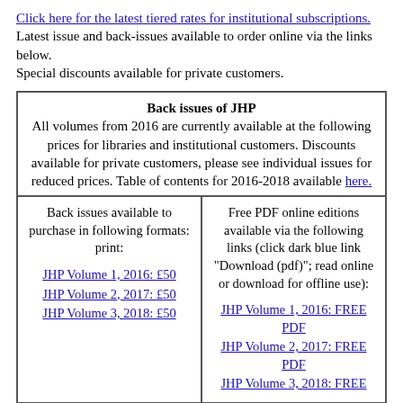Click here for the latest tiered rates for institutional subscriptions.
Latest issue and back-issues available to order online via the links below.
Special discounts available for private customers.
| Back issues of JHP |
| --- |
| All volumes from 2016 are currently available at the following prices for libraries and institutional customers. Discounts available for private customers, please see individual issues for reduced prices. Table of contents for 2016-2018 available here. |
| Back issues available to purchase in following formats: print:
JHP Volume 1, 2016: £50
JHP Volume 2, 2017: £50
JHP Volume 3, 2018: £50 | Free PDF online editions available via the following links (click dark blue link "Download (pdf)"; read online or download for offline use):
JHP Volume 1, 2016: FREE PDF
JHP Volume 2, 2017: FREE PDF
JHP Volume 3, 2018: FREE PDF |